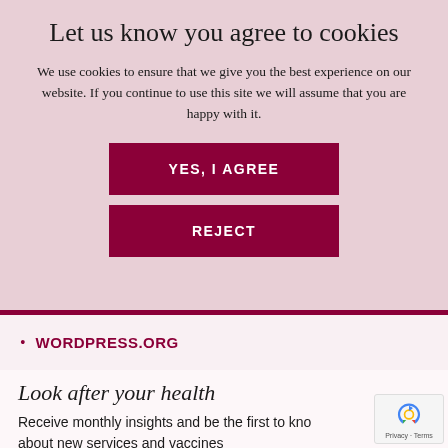Let us know you agree to cookies
We use cookies to ensure that we give you the best experience on our website. If you continue to use this site we will assume that you are happy with it.
YES, I AGREE
REJECT
WORDPRESS.ORG
Look after your health
Receive monthly insights and be the first to know about new services and vaccines